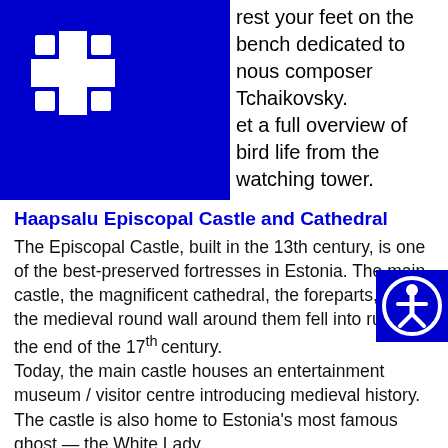rest your feet on the bench dedicated to famous composer Tchaikovsky. Get a full overview of bird life from the watching tower.
Haapsalu Episcopal Castle and Cathedral
The Episcopal Castle, built in the 13th century, is one of the best-preserved fortresses in Estonia. The main castle, the magnificent cathedral, the foreparts, and the medieval round wall around them fell into ruins at the end of the 17th century.
Today, the main castle houses an entertainment museum / visitor centre introducing medieval history. The castle is also home to Estonia's most famous ghost — the White Lady.
2–hour guided birdwatching walk in Haapsalu